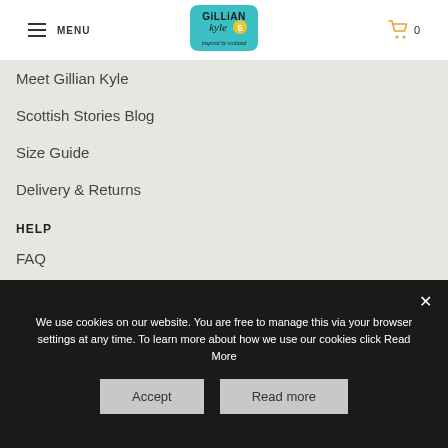MENU | Gillian Kyle logo | Cart 0
Meet Gillian Kyle
Scottish Stories Blog
Size Guide
Delivery & Returns
HELP
FAQ
Cookies
Terms of use
We use cookies on our website. You are free to manage this via your browser settings at any time. To learn more about how we use our cookies click Read More
Accept | Read more